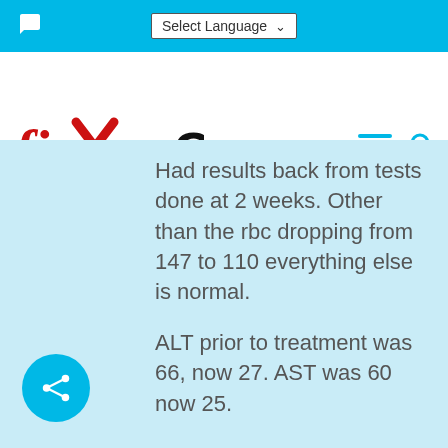Select Language
[Figure (logo): fixHepC logo with red X mark through 'x']
Had results back from tests done at 2 weeks. Other than the rbc dropping from 147 to 110 everything else is normal.
ALT prior to treatment was 66, now 27. AST was 60 now 25.